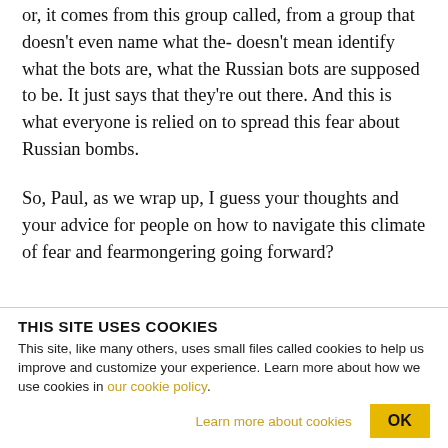or, it comes from this group called, from a group that doesn't even name what the- doesn't mean identify what the bots are, what the Russian bots are supposed to be. It just says that they're out there. And this is what everyone is relied on to spread this fear about Russian bombs.
So, Paul, as we wrap up, I guess your thoughts and your advice for people on how to navigate this climate of fear and fearmongering going forward?
THIS SITE USES COOKIES
This site, like many others, uses small files called cookies to help us improve and customize your experience. Learn more about how we use cookies in our cookie policy.